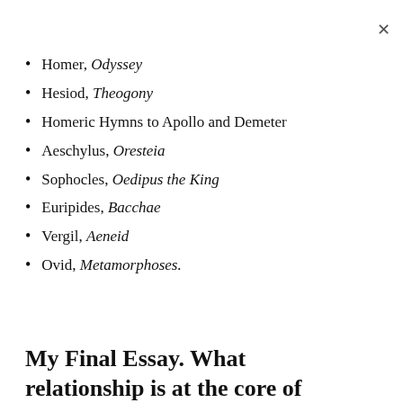Homer, Odyssey
Hesiod, Theogony
Homeric Hymns to Apollo and Demeter
Aeschylus, Oresteia
Sophocles, Oedipus the King
Euripides, Bacchae
Vergil, Aeneid
Ovid, Metamorphoses.
My Final Essay. What relationship is at the core of